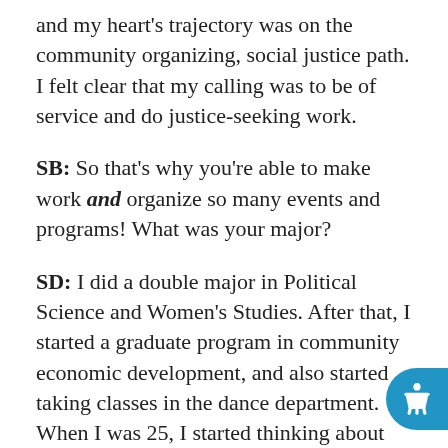and my heart's trajectory was on the community organizing, social justice path. I felt clear that my calling was to be of service and do justice-seeking work.
SB: So that's why you're able to make work and organize so many events and programs! What was your major?
SD: I did a double major in Political Science and Women's Studies. After that, I started a graduate program in community economic development, and also started taking classes in the dance department. When I was 25, I started thinking about getting more training. I couldn't dance often enough! I was taking ballet with this one teacher who one day asked me to stay after cl…